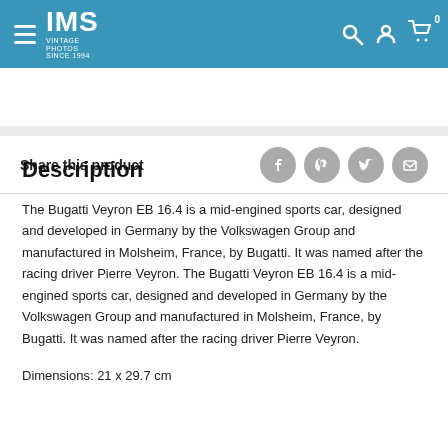IMS Vintage Photos
Share this product
Description
The Bugatti Veyron EB 16.4 is a mid-engined sports car, designed and developed in Germany by the Volkswagen Group and manufactured in Molsheim, France, by Bugatti. It was named after the racing driver Pierre Veyron. The Bugatti Veyron EB 16.4 is a mid-engined sports car, designed and developed in Germany by the Volkswagen Group and manufactured in Molsheim, France, by Bugatti. It was named after the racing driver Pierre Veyron.
Dimensions: 21 x 29.7 cm